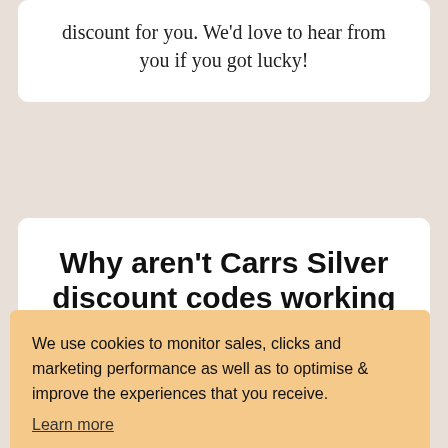discount for you. We'd love to hear from you if you got lucky!
Why aren't Carrs Silver discount codes working for me?
We use cookies to monitor sales, clicks and marketing performance as well as to optimise & improve the experiences that you receive.
Learn more
GOT IT!
on all items regardless of price or range